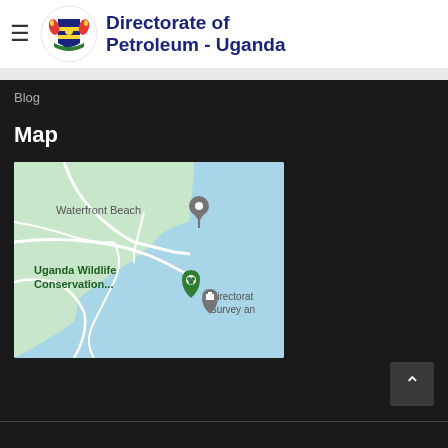Directorate of Petroleum - Uganda
Blog
Map
[Figure (map): Google Maps screenshot showing Waterfront Beach, Uganda Wildlife Conservation..., and Directorate Survey an... markers near a blue water body, with green land areas and white road network.]